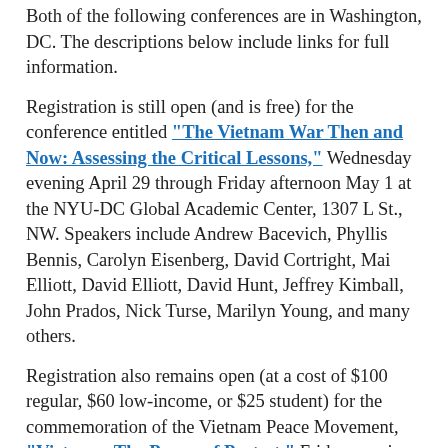Both of the following conferences are in Washington, DC. The descriptions below include links for full information.
Registration is still open (and is free) for the conference entitled "The Vietnam War Then and Now: Assessing the Critical Lessons," Wednesday evening April 29 through Friday afternoon May 1 at the NYU-DC Global Academic Center, 1307 L St., NW. Speakers include Andrew Bacevich, Phyllis Bennis, Carolyn Eisenberg, David Cortright, Mai Elliott, David Elliott, David Hunt, Jeffrey Kimball, John Prados, Nick Turse, Marilyn Young, and many others.
Registration also remains open (at a cost of $100 regular, $60 low-income, or $25 student) for the commemoration of the Vietnam Peace Movement, "Vietnam: The Power of Protest," Friday evening May 1 and Saturday May 2 at the New York Avenue Presbyterian Church, 1313 New York Avenue. Again, many of the speakers (including Phil Donahue, Daniel Ellsberg, Frances Fitzgerald, Todd Gitlin